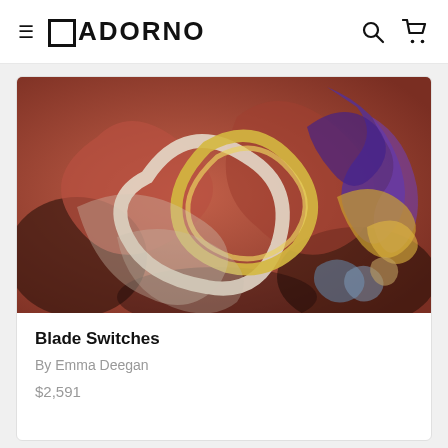≡ ADORNO [search] [cart]
[Figure (photo): Abstract swirling painting with warm reds and browns, featuring circular spiral shapes, yellow rings, and purple calligraphic strokes — the artwork 'Blade Switches' by Emma Deegan]
Blade Switches
By Emma Deegan
$2,591